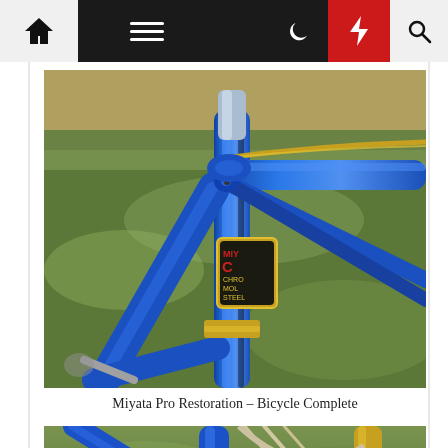Navigation bar with home, menu, dark mode, lightning/featured, and search icons
[Figure (photo): Close-up photograph of a blue and gold Miyata Pro bicycle frame, showing the seat tube junction with a gold Miyata label badge, against a grassy background]
Miyata Pro Restoration – Bicycle Complete
[Figure (photo): Partial view of a blue and gold Miyata Pro bicycle, showing wheels and frame against a grassy background]